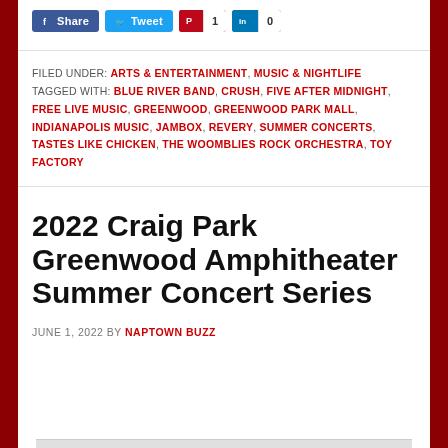[Figure (other): Social sharing buttons: Share (Facebook, blue), Tweet (Twitter, light blue), Pinterest button with count 1, LinkedIn button with count 0]
FILED UNDER: ARTS & ENTERTAINMENT, MUSIC & NIGHTLIFE
TAGGED WITH: BLUE RIVER BAND, CRUSH, FIVE AFTER MIDNIGHT, FREE LIVE MUSIC, GREENWOOD, GREENWOOD PARK MALL, INDIANAPOLIS MUSIC, JAMBOX, REVERY, SUMMER CONCERTS, TASTES LIKE CHICKEN, THE WOOMBLIES ROCK ORCHESTRA, TOY FACTORY
2022 Craig Park Greenwood Amphitheater Summer Concert Series
JUNE 1, 2022 BY NAPTOWN BUZZ